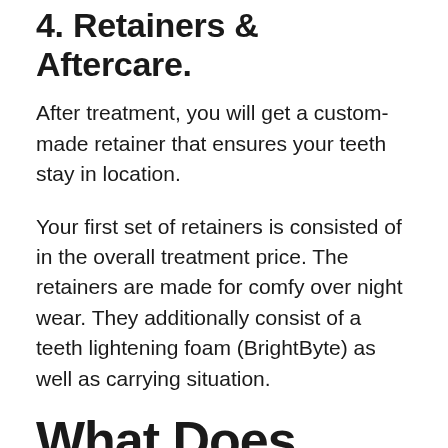4. Retainers & Aftercare.
After treatment, you will get a custom-made retainer that ensures your teeth stay in location.
Your first set of retainers is consisted of in the overall treatment price. The retainers are made for comfy over night wear. They additionally consist of a teeth lightening foam (BrightByte) as well as carrying situation.
What Does Byte Offer?
Byte offers two therapy alternatives to